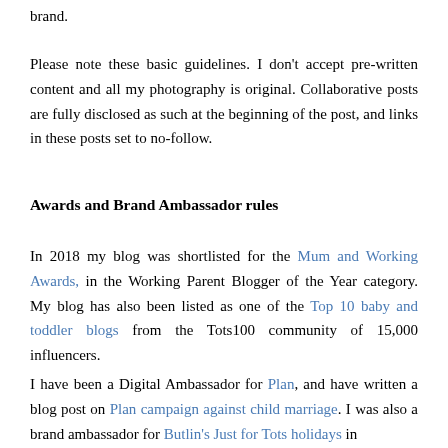brand.
Please note these basic guidelines. I don't accept pre-written content and all my photography is original. Collaborative posts are fully disclosed as such at the beginning of the post, and links in these posts set to no-follow.
Awards and Brand Ambassador rules
In 2018 my blog was shortlisted for the Mum and Working Awards, in the Working Parent Blogger of the Year category. My blog has also been listed as one of the Top 10 baby and toddler blogs from the Tots100 community of 15,000 influencers.
I have been a Digital Ambassador for Plan, and have written a blog post on Plan campaign against child marriage. I was also a brand ambassador for Butlin's Just for Tots holidays in